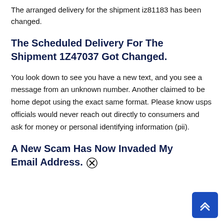The arranged delivery for the shipment iz81183 has been changed.
The Scheduled Delivery For The Shipment 1Z47037 Got Changed.
You look down to see you have a new text, and you see a message from an unknown number. Another claimed to be home depot using the exact same format. Please know usps officials would never reach out directly to consumers and ask for money or personal identifying information (pii).
A New Scam Has Now Invaded My Email Address.